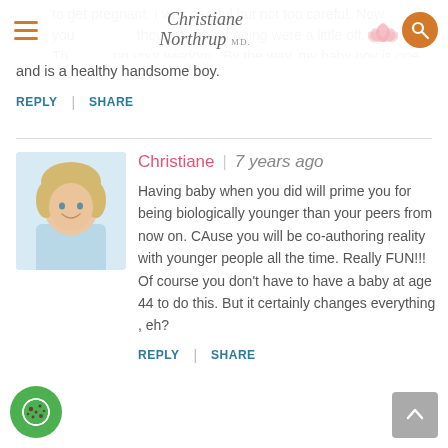Christiane Northrup M.D. — navigation header with hamburger menu and search icon
to get pregnant. I was careful but not too careful. Now you of course my b… thoughts about aging were a little off. Th… ng your wisdom. By the way, my baby boy is one year and seven months old and is a healthy handsome boy.
REPLY | SHARE
Christiane | 7 years ago

Having baby when you did will prime you for being biologically younger than your peers from now on. CAuse you will be co-authoring reality with younger people all the time. Really FUN!!! Of course you don't have to have a baby at age 44 to do this. But it certainly changes everything , eh?
REPLY | SHARE